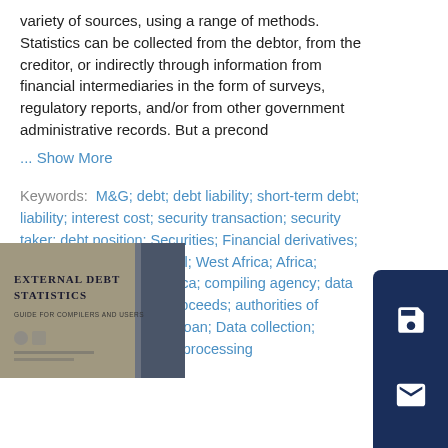variety of sources, using a range of methods. Statistics can be collected from the debtor, from the creditor, or indirectly through information from financial intermediaries in the form of surveys, regulatory reports, and/or from other government administrative records. But a precond
... Show More
Keywords:  M&G; debt; debt liability; short-term debt; liability; interest cost; security transaction; security taker; debt position; Securities; Financial derivatives; Loans; Currencies; Global; West Africa; Africa; Southern Africa; East Africa; compiling agency; data compiler; liberalization proceeds; authorities of information; government loan; Data collection; Commercial banks; Data processing
[Figure (illustration): Book cover of 'External Debt Statistics: Guide for Compilers and Users' with a grey and dark green design]